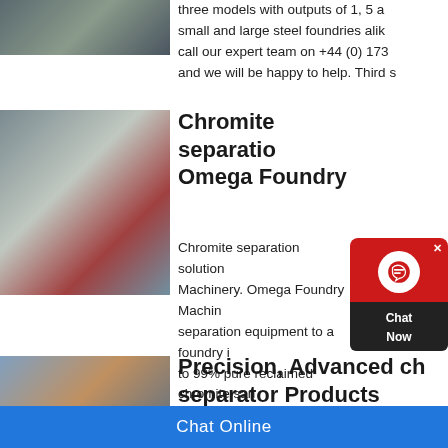[Figure (photo): Industrial factory or foundry equipment photo, top left]
three models with outputs of 1, 5 and small and large steel foundries alike call our expert team on +44 (0) 173 and we will be happy to help. Third s
[Figure (photo): Large cylindrical drum/ball mill industrial machinery photo]
Chromite separation - Omega Foundry
Chromite separation solution Machinery. Omega Foundry Machin separation equipment to a foundry i to 99% pure reclaimed chromite san magnet separators and a fluidised c company.
[Figure (photo): Industrial plant/chromite separator facility photo]
Precision, Advanced chromite separator Products
Chat Online